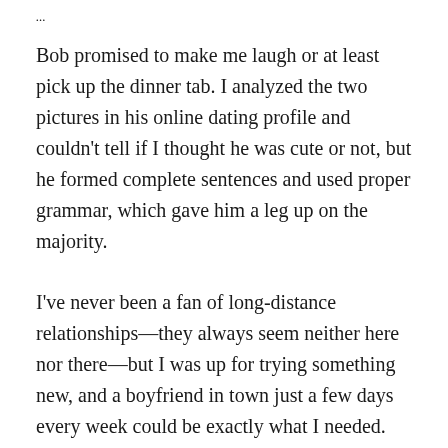...
Bob promised to make me laugh or at least pick up the dinner tab. I analyzed the two pictures in his online dating profile and couldn't tell if I thought he was cute or not, but he formed complete sentences and used proper grammar, which gave him a leg up on the majority.
I've never been a fan of long-distance relationships—they always seem neither here nor there—but I was up for trying something new, and a boyfriend in town just a few days every week could be exactly what I needed. Given my above-mentioned dating history, I tend to toward emotional unavailability myself. I'm certainly capable of more, but until the lesson is learned it's